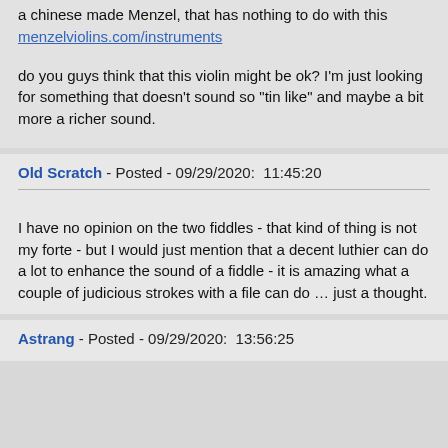a chinese made Menzel, that has nothing to do with this menzelviolins.com/instruments
do you guys think that this violin might be ok? I'm just looking for something that doesn't sound so "tin like" and maybe a bit more a richer sound.
Old Scratch - Posted - 09/29/2020:  11:45:20
I have no opinion on the two fiddles - that kind of thing is not my forte - but I would just mention that a decent luthier can do a lot to enhance the sound of a fiddle - it is amazing what a couple of judicious strokes with a file can do … just a thought.
Astrang - Posted - 09/29/2020:  13:56:25